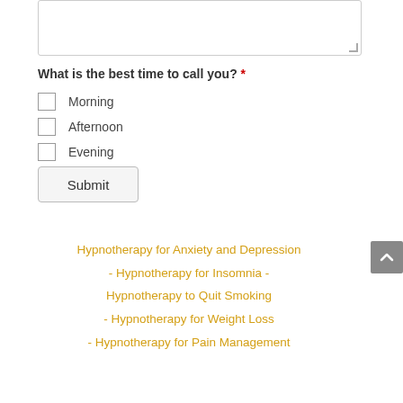[textarea input box]
What is the best time to call you? *
Morning
Afternoon
Evening
Submit
Hypnotherapy for Anxiety and Depression
- Hypnotherapy for Insomnia -
Hypnotherapy to Quit Smoking
- Hypnotherapy for Weight Loss
- Hypnotherapy for Pain Management